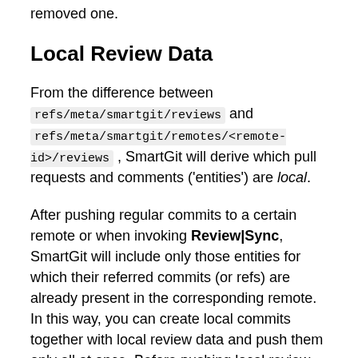removed one.
Local Review Data
From the difference between refs/meta/smartgit/reviews and refs/meta/smartgit/remotes/<remote-id>/reviews , SmartGit will derive which pull requests and comments ('entities') are local.
After pushing regular commits to a certain remote or when invoking Review|Sync, SmartGit will include only those entities for which their referred commits (or refs) are already present in the corresponding remote. In this way, you can create local commits together with local review data and push them only all at once. Before pushing local review data, SmartGit will squash all your local review tree commits into a single commit: this especially means that additions followed by deletions of certain entities or come back and forth while editing